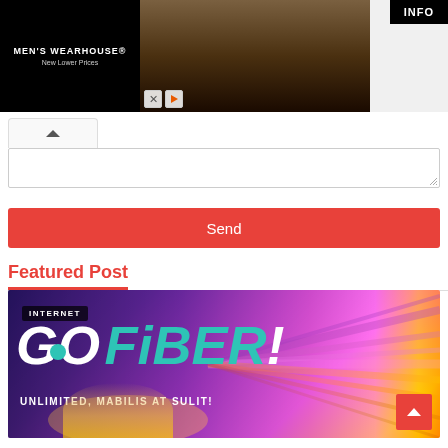[Figure (photo): Men's Wearhouse advertisement banner showing a couple in formal wear and a man in a white suit, with INFO button and ad controls]
[Figure (screenshot): Comment text area with collapse chevron button]
[Figure (screenshot): Red Send button]
Featured Post
[Figure (photo): GO FiBER! advertisement image with INTERNET label, teal and purple background with speed lines, subtitle UNLIMITED, MABILIS AT SULIT!, person overlay, and a red scroll-to-top button]
Let's Help You Get Connected with Converge